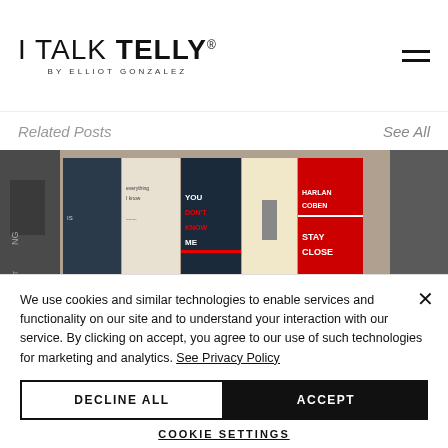I TALK TELLY® BY ELLIOT GONZALEZ
Related Posts
See All
[Figure (photo): A horizontal strip of book covers including titles such as You Don't Know Me, Holding by Graham Norton, Harlan Coben Stay Close, My Name Is..., and others, partially cropped on both sides.]
We use cookies and similar technologies to enable services and functionality on our site and to understand your interaction with our service. By clicking on accept, you agree to our use of such technologies for marketing and analytics. See Privacy Policy
DECLINE ALL
ACCEPT
COOKIE SETTINGS